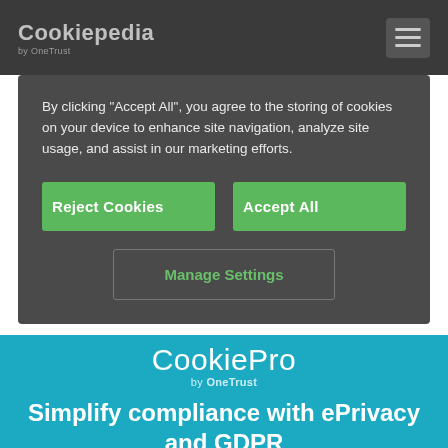Cookiepedia by OneTrust
By clicking "Accept All", you agree to the storing of cookies on your device to enhance site navigation, analyze site usage, and assist in our marketing efforts.
Reject Cookies | Accept All | Manage Settings
CookiePro by OneTrust
Simplify compliance with ePrivacy and GDPR
Cookie Banner
Cookie Preferences
Cookie Notice
Records of Consent